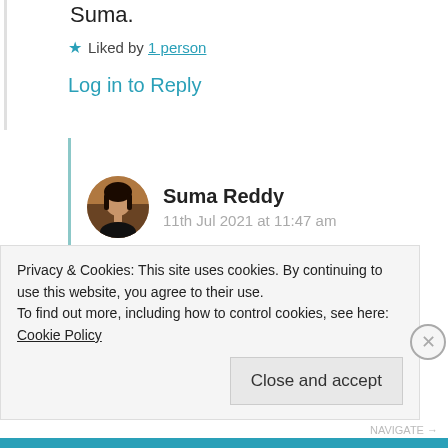Suma.
★ Liked by 1 person
Log in to Reply
Suma Reddy
11th Jul 2021 at 11:47 am
Glad you liked the quote yes it's beautiful. Thank you very much for
Privacy & Cookies: This site uses cookies. By continuing to use this website, you agree to their use. To find out more, including how to control cookies, see here: Cookie Policy
Close and accept